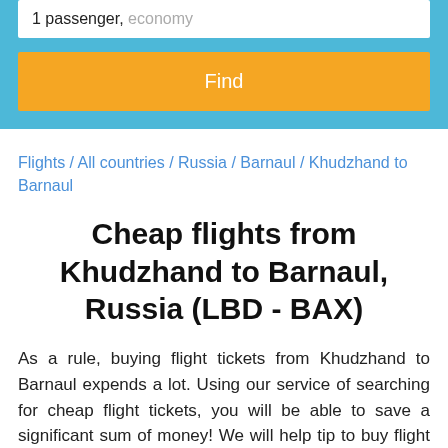1 passenger, economy
Find
Flights / All countries / Russia / Barnaul / Khudzhand to Barnaul
Cheap flights from Khudzhand to Barnaul, Russia (LBD - BAX)
As a rule, buying flight tickets from Khudzhand to Barnaul expends a lot. Using our service of searching for cheap flight tickets, you will be able to save a significant sum of money! We will help tip to buy flight tickets from Khudzhand to Barnaul at the most favorable prices.